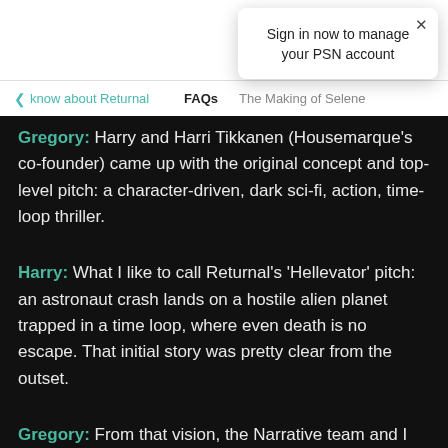RETURNAL
Sign in now to manage your PSN account
< know about Returnal   FAQs   The Making of Selene
Gregory: Harry and Harri Tikkanen (Housemarque’s co-founder) came up with the original concept and top-level pitch: a character-driven, dark sci-fi, action, time-loop thriller.
Harry: What I like to call Returnal’s ‘Hellevator’ pitch: an astronaut crash lands on a hostile alien planet trapped in a time loop, where even death is no escape. That initial story was pretty clear from the outset.
Gregory: From that vision, the Narrative team and I started building an idea of who the main character would be. We had the beginning and end to the story figured out and, from this setup,